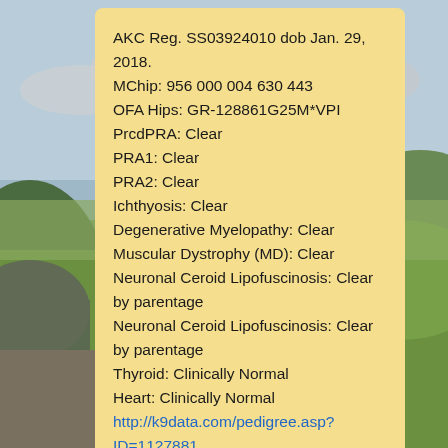[Figure (photo): Background landscape photo of green rolling hills with cloudy sky]
AKC Reg. SS03924010 dob Jan. 29, 2018.
MChip: 956 000 004 630 443
OFA Hips: GR-128861G25M*VPI
PrcdPRA: Clear
PRA1: Clear
PRA2: Clear
Ichthyosis: Clear
Degenerative Myelopathy: Clear
Muscular Dystrophy (MD): Clear
Neuronal Ceroid Lipofuscinosis: Clear by parentage
Neuronal Ceroid Lipofuscinosis: Clear by parentage
Thyroid: Clinically Normal
Heart: Clinically Normal
http://k9data.com/pedigree.asp?ID=1127881